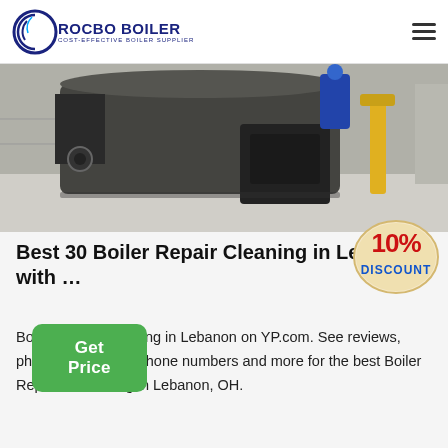ROCBO BOILER — COST-EFFECTIVE BOILER SUPPLIER
[Figure (photo): Industrial boiler equipment installation — large cylindrical boiler unit in a facility with yellow pipes and concrete floor]
Best 30 Boiler Repair Cleaning in Lebanon with …
[Figure (other): 10% DISCOUNT badge graphic in red and blue text on a beige/cream background]
Boiler Repair Cleaning in Lebanon on YP.com. See reviews, photos, directions, phone numbers and more for the best Boiler Repair & Cleaning in Lebanon, OH.
Get Price